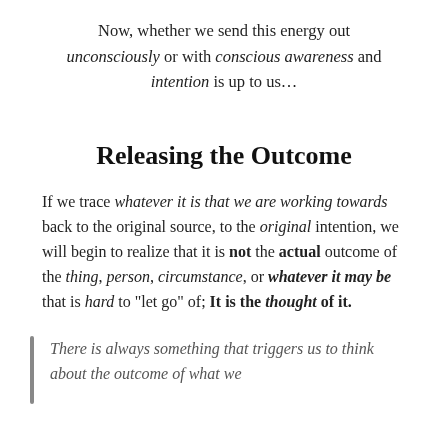Now, whether we send this energy out unconsciously or with conscious awareness and intention is up to us...
Releasing the Outcome
If we trace whatever it is that we are working towards back to the original source, to the original intention, we will begin to realize that it is not the actual outcome of the thing, person, circumstance, or whatever it may be that is hard to “let go” of; It is the thought of it.
There is always something that triggers us to think about the outcome of what we